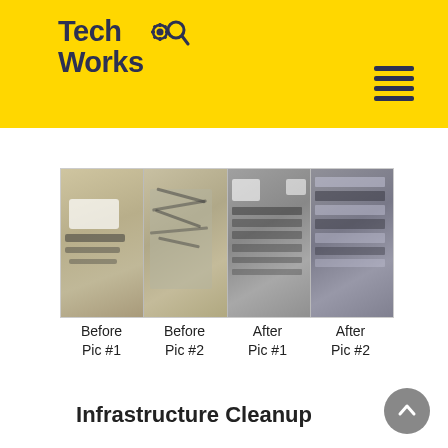TechWorks
[Figure (photo): Four photos in a horizontal strip: Before Pic #1 (messy cables/devices), Before Pic #2 (tangled wires), After Pic #1 (organized server/rack equipment), After Pic #2 (organized rack equipment)]
Before Pic #1   Before Pic #2   After Pic #1   After Pic #2
Infrastructure Cleanup